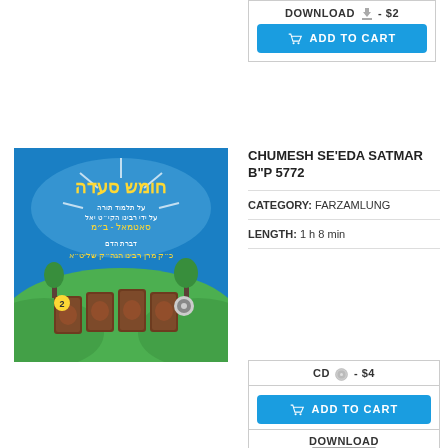DOWNLOAD - $2
ADD TO CART
[Figure (illustration): Album cover for Chumesh Se'eda Satmar B"P 5772 showing Hebrew text and illustrated Torah books on grass with blue sky]
CHUMESH SE'EDA SATMAR B"P 5772
CATEGORY: FARZAMLUNG
LENGTH: 1 h 8 min
CD - $4
ADD TO CART
DOWNLOAD - $3
ADD TO CART